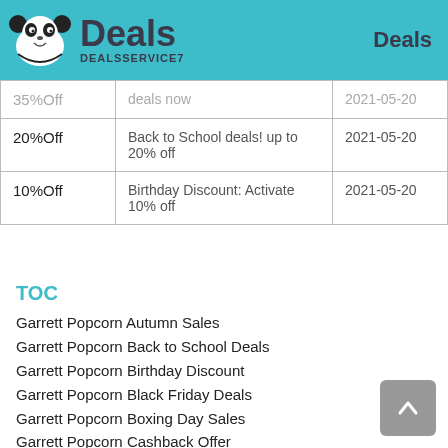Deals — DEALSSERVICE7 | Deals
| Discount | Description | Date |
| --- | --- | --- |
| 35%Off | [partial] deals now | 2021-05-20 |
| 20%Off | Back to School deals! up to 20% off | 2021-05-20 |
| 10%Off | Birthday Discount: Activate 10% off | 2021-05-20 |
TOC
Garrett Popcorn Autumn Sales
Garrett Popcorn Back to School Deals
Garrett Popcorn Birthday Discount
Garrett Popcorn Black Friday Deals
Garrett Popcorn Boxing Day Sales
Garrett Popcorn Cashback Offer